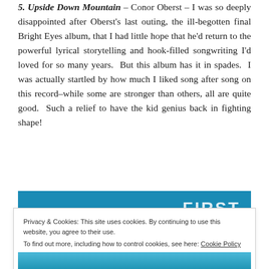5. Upside Down Mountain – Conor Oberst – I was so deeply disappointed after Oberst's last outing, the ill-begotten final Bright Eyes album, that I had little hope that he'd return to the powerful lyrical storytelling and hook-filled songwriting I'd loved for so many years.  But this album has it in spades.  I was actually startled by how much I liked song after song on this record–while some are stronger than others, all are quite good.  Such a relief to have the kid genius back in fighting shape!
[Figure (photo): Blue banner with white bold text reading 'FIRST' partially visible]
Privacy & Cookies: This site uses cookies. By continuing to use this website, you agree to their use.
To find out more, including how to control cookies, see here: Cookie Policy
Close and accept